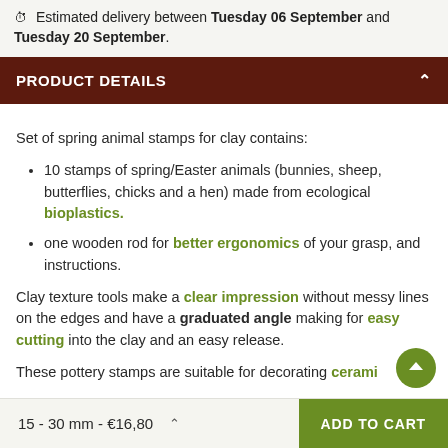Estimated delivery between Tuesday 06 September and Tuesday 20 September.
PRODUCT DETAILS
Set of spring animal stamps for clay contains:
10 stamps of spring/Easter animals (bunnies, sheep, butterflies, chicks and a hen) made from ecological bioplastics.
one wooden rod for better ergonomics of your grasp, and instructions.
Clay texture tools make a clear impression without messy lines on the edges and have a graduated angle making for easy cutting into the clay and an easy release.
These pottery stamps are suitable for decorating ceramic
15 - 30 mm - €16,80   ADD TO CART